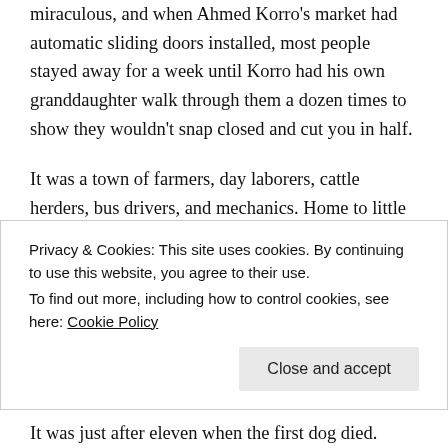miraculous, and when Ahmed Korro's market had automatic sliding doors installed, most people stayed away for a week until Korro had his own granddaughter walk through them a dozen times to show they wouldn't snap closed and cut you in half.
It was a town of farmers, day laborers, cattle herders, bus drivers, and mechanics. Home to little more than one thousand people, it was proud of its large school and even had a Red Crescent medical clinic.
At 9:47 a.m., the President- General Dhul-Fiqaar's government shut off every cell tower within fifty
Privacy & Cookies: This site uses cookies. By continuing to use this website, you agree to their use.
To find out more, including how to control cookies, see here: Cookie Policy
It was just after eleven when the first dog died.